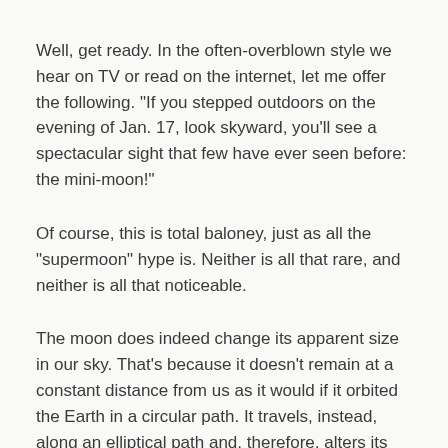Well, get ready. In the often-overblown style we hear on TV or read on the internet, let me offer the following. "If you stepped outdoors on the evening of Jan. 17, look skyward, you'll see a spectacular sight that few have ever seen before: the mini-moon!"
Of course, this is total baloney, just as all the "supermoon" hype is. Neither is all that rare, and neither is all that noticeable.
The moon does indeed change its apparent size in our sky. That's because it doesn't remain at a constant distance from us as it would if it orbited the Earth in a circular path. It travels, instead, along an elliptical path and, therefore, alters its distance – and its apparent size – throughout its monthly orbit.